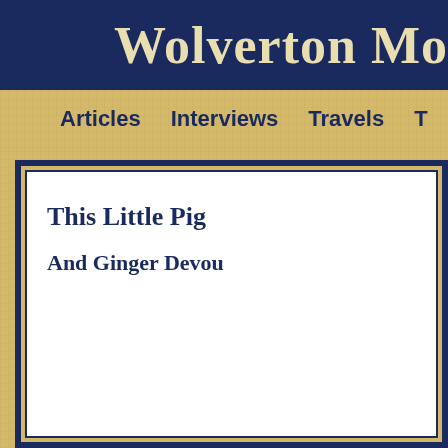Wolverton Mo
Articles   Interviews   Travels   T
This Little Pig
And Ginger Devou